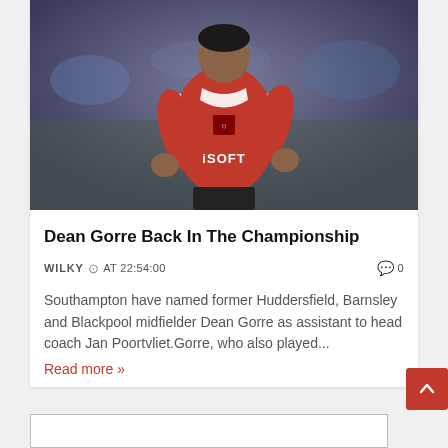[Figure (photo): A football player wearing a red jersey with 'iSOFT' sponsor text, running during a match. The player appears to be Dean Gorre.]
Dean Gorre Back In The Championship
WILKY  ⊙  AT 22:54:00   💬 0
Southampton have named former Huddersfield, Barnsley and Blackpool midfielder Dean Gorre as assistant to head coach Jan Poortvliet.Gorre, who also played...
Read more »